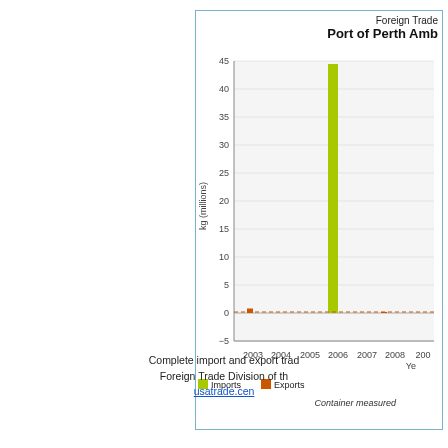Foreign Trade
Port of Perth Amb
[Figure (bar-chart): Foreign Trade Port of Perth Amb]
Container measured
Complete import and export trad
Foreign Trade Division of th
usatrade.cen